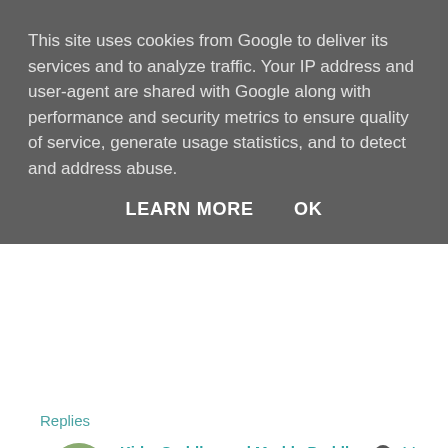This site uses cookies from Google to deliver its services and to analyze traffic. Your IP address and user-agent are shared with Google along with performance and security metrics to ensure quality of service, generate usage statistics, and to detect and address abuse.
LEARN MORE   OK
Replies
Kids, Cuddles and Muddy Puddles  14 [date cut off]
No, you're right Claire! We attempted a pup... recipe for disaster...but it also turned out tha... informed, experienced and ready now which...
Reply
Crummy Mummy  14 May 2018 at 19:58
We'd love a dog but not until the kids are older - it w...